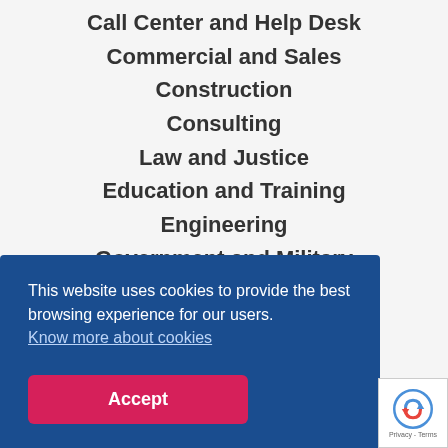Call Center and Help Desk
Commercial and Sales
Construction
Consulting
Law and Justice
Education and Training
Engineering
Government and Military
Hospitality and Leisure
Real Estate
Industry and Production
Computer and Programming
Cleaners
This website uses cookies to provide the best browsing experience for our users. Know more about cookies
Accept